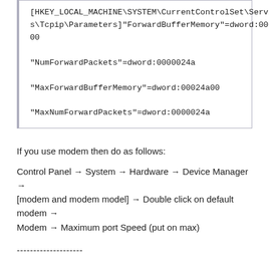[HKEY_LOCAL_MACHINE\SYSTEM\CurrentControlSet\Services\Tcpip\Parameters]"ForwardBufferMemory"=dword:00024a00

"NumForwardPackets"=dword:0000024a

"MaxForwardBufferMemory"=dword:00024a00

"MaxNumForwardPackets"=dword:0000024a
If you use modem then do as follows:
Control Panel → System → Hardware → Device Manager → [modem and modem model] → Double click on default modem → Modem → Maximum port Speed (put on max)
--------------------
Method 2
Turn off Phishing Filter in IE 7
Click on Tools → Internet Options → Advanced
Near the bottom of the list of options, it has a Phishing heading